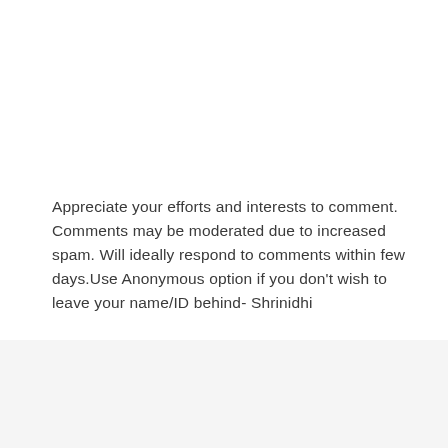Appreciate your efforts and interests to comment. Comments may be moderated due to increased spam. Will ideally respond to comments within few days.Use Anonymous option if you don't wish to leave your name/ID behind- Shrinidhi